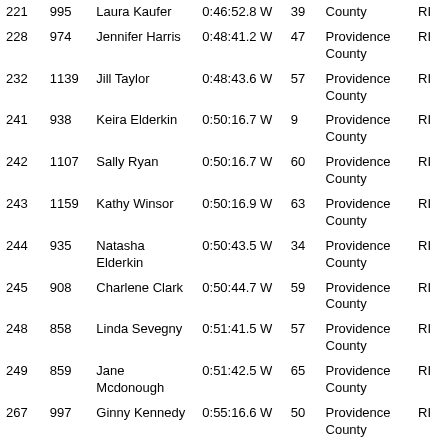| 221 | 995 | Laura Kaufer | 0:46:52.8 W | 39 | County | RI |
| 228 | 974 | Jennifer Harris | 0:48:41.2 W | 47 | Providence County | RI |
| 232 | 1139 | Jill Taylor | 0:48:43.6 W | 57 | Providence County | RI |
| 241 | 938 | Keira Elderkin | 0:50:16.7 W | 9 | Providence County | RI |
| 242 | 1107 | Sally Ryan | 0:50:16.7 W | 60 | Providence County | RI |
| 243 | 1159 | Kathy Winsor | 0:50:16.9 W | 63 | Providence County | RI |
| 244 | 935 | Natasha Elderkin | 0:50:43.5 W | 34 | Providence County | RI |
| 245 | 908 | Charlene Clark | 0:50:44.7 W | 59 | Providence County | RI |
| 248 | 858 | Linda Sevegny | 0:51:41.5 W | 57 | Providence County | RI |
| 249 | 859 | Jane Mcdonough | 0:51:42.5 W | 65 | Providence County | RI |
| 267 | 997 | Ginny Kennedy | 0:55:16.6 W | 50 | Providence County | RI |
| 271 | 900 | Brihenna Cavanagh | 0:55:19.7 W | 35 | Providence County | RI |
| 272 | 860 | Jean Aldous | 0:55:20.2 W | 58 | Providence County | RI |
| 273 | 869 | Maura Babbitt | 0:55:30.5 W | 46 | Windham County | CT |